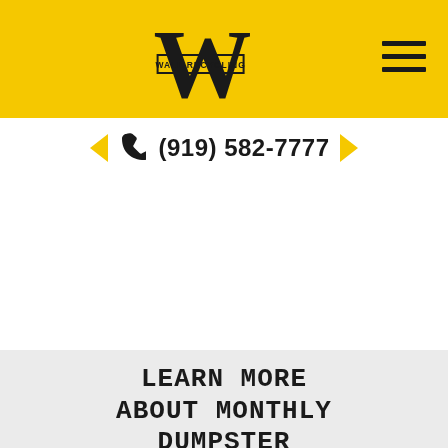[Figure (logo): Wall Recycling logo: large stylized W with 'WALL RECYCLING' text inside a rectangle, on yellow background]
[Figure (other): Hamburger menu icon (three horizontal lines) in top right of yellow header]
(919) 582-7777
LEARN MORE ABOUT MONTHLY DUMPSTER RENTAL IN